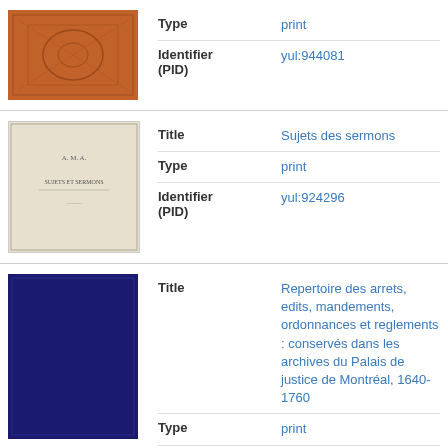[Figure (photo): Orange patterned book cover thumbnail]
| Type | print |
| Identifier (PID) | yul:944081 |
[Figure (photo): Light beige book cover thumbnail with text]
| Title | Sujets des sermons |
| Type | print |
| Identifier (PID) | yul:924296 |
[Figure (photo): Dark navy blue book cover thumbnail]
| Title | Repertoire des arrets, edits, mandements, ordonnances et reglements : conservés dans les archives du Palais de justice de Montréal, 1640-1760 |
| Type | print |
| Identifier | yul:... |